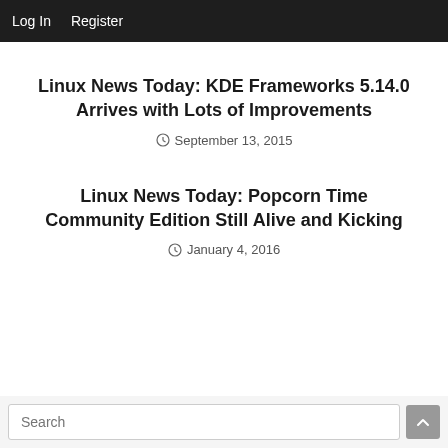Log In  Register
Linux News Today: KDE Frameworks 5.14.0 Arrives with Lots of Improvements
September 13, 2015
Linux News Today: Popcorn Time Community Edition Still Alive and Kicking
January 4, 2016
Search